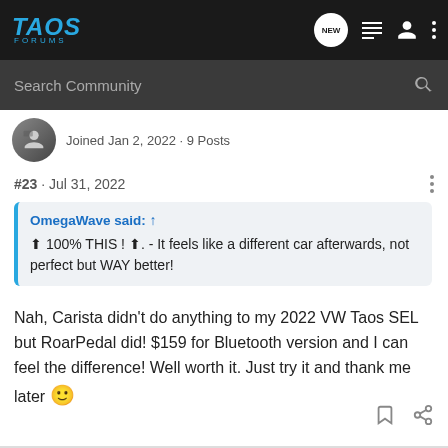TAOS FORUMS
Search Community
Joined Jan 2, 2022 · 9 Posts
#23 · Jul 31, 2022
OmegaWave said: ↑ 100% THIS ! ↑. - It feels like a different car afterwards, not perfect but WAY better!
Nah, Carista didn't do anything to my 2022 VW Taos SEL but RoarPedal did! $159 for Bluetooth version and I can feel the difference! Well worth it. Just try it and thank me later 🙂